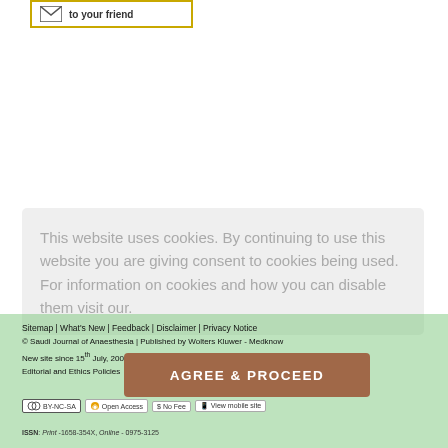[Figure (other): Email icon with 'to your friend' text inside a gold-bordered box]
This website uses cookies. By continuing to use this website you are giving consent to cookies being used. For information on cookies and how you can disable them visit our.
AGREE & PROCEED
Sitemap | What's New | Feedback | Disclaimer | Privacy Notice
© Saudi Journal of Anaesthesia | Published by Wolters Kluwer - Medknow
New site since 15th July, 2009
Editorial and Ethics Policies
[Figure (logo): CC BY-NC-SA license badge, Open Access badge, No Fee badge, View mobile site badge]
ISSN: Print -1658-354X, Online - 0975-3125